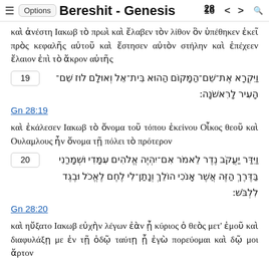☰ Options  Bereshit - Genesis 16 28 < > 🔍
καὶ ἀνέστη Ιακωβ τὸ πρωὶ καὶ ἔλαβεν τὸν λίθον ὃν ὑπέθηκεν ἐκεῖ πρὸς κεφαλῆς αὐτοῦ καὶ ἔστησεν αὐτὸν στήλην καὶ ἐπέχεεν ἔλαιον ἐπὶ τὸ ἄκρον αὐτῆς
19 וַיִּקְרָא אֶת־שֵׁם־הַמָּקוֹם הַהוּא בֵּית־אֵל וְאוּלָם לוּז שֵׁם־הָעִיר לָרִאשֹׁנָה:
Gn 28:19
καὶ ἐκάλεσεν Ιακωβ τὸ ὄνομα τοῦ τόπου ἐκείνου Οἶκος θεοῦ καὶ Ουλαμλους ἦν ὄνομα τῇ πόλει τὸ πρότερον
20 וַיִּדַּר יַעֲקֹב נֶדֶר לֵאמֹר אִם־יִהְיֶה אֱלֹהִים עִמָּדִי וּשְׁמָרַנִי בַּדֶּרֶךְ הַזֶּה אֲשֶׁר אָנֹכִי הוֹלֵךְ וְנָתַן־לִי לֶחֶם לֶאֱכֹל וּבֶגֶד לִלְבֹּשׁ:
Gn 28:20
καὶ ηὔξατο Ιακωβ εὐχὴν λέγων ἐὰν ᾖ κύριος ὁ θεὸς μετ' ἐμοῦ καὶ διαφυλάξῃ με ἐν τῇ ὁδῷ ταύτῃ ᾗ ἐγὼ πορεύομαι καὶ δῷ μοι ἄρτον